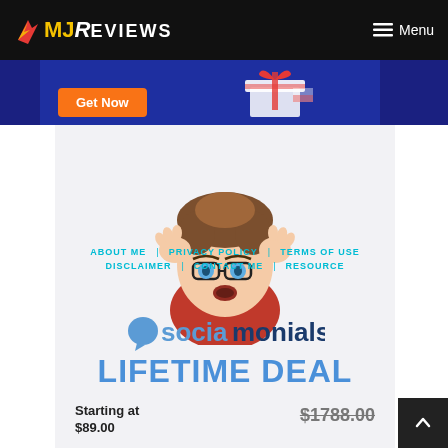MJ Reviews — Menu
[Figure (screenshot): Blue promotional banner with orange 'Get Now' button and gift box illustration on dark blue background]
[Figure (illustration): Cartoon illustration of a surprised man with glasses, brown hair, wearing a red shirt, with hands raised near face]
ABOUT ME  |  PRIVACY POLICY  |  TERMS OF USE
DISCLAIMER  |  CONTACT ME  |  RESOURCE
[Figure (logo): Sociamonials logo — speech bubble icon with 'Socia' in blue and 'monials' in dark navy]
LIFETIME DEAL
Starting at
$1788.00